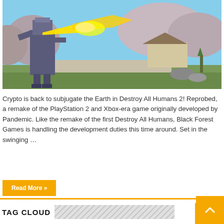[Figure (screenshot): Video game screenshot showing a robot-like character with glowing yellow energy beam in a Japanese garden setting with cherry blossom trees and traditional buildings]
Crypto is back to subjugate the Earth in Destroy All Humans 2! Reprobed, a remake of the PlayStation 2 and Xbox-era game originally developed by Pandemic. Like the remake of the first Destroy All Humans, Black Forest Games is handling the development duties this time around. Set in the swinging …
Read More »
Search
TAG CLOUD